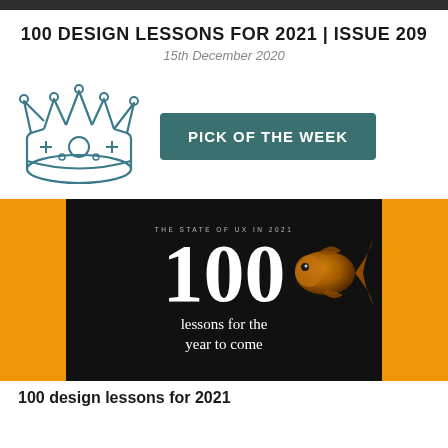100 DESIGN LESSONS FOR 2021 | ISSUE 209
15th December 2020
[Figure (illustration): Blue outline illustration of a crown with cross and circle decorations, and a teal rounded rectangle button with bold white text PICK OF THE WEEK]
[Figure (photo): Black background promotional image with text 'THE STATE OF UX IN 2021' at top, large white number '100', text 'lessons for the year to come', and a golden fish on the right side. Orange panels flank the black center image.]
100 design lessons for 2021